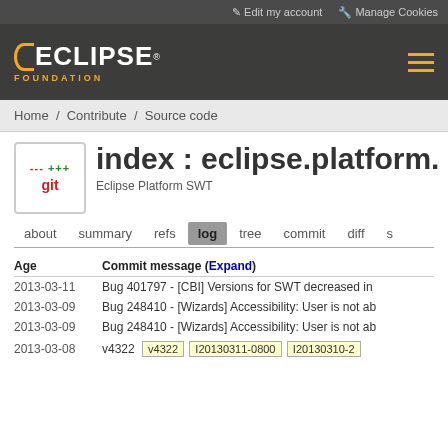Edit my account   Manage Cookies
[Figure (logo): Eclipse Foundation logo with orange crescent and FOUNDATION text]
index : eclipse.platform.swt.git
Eclipse Platform SWT
about   summary   refs   log   tree   commit   diff   s
Home / Contribute / Source code
| Age | Commit message (Expand) |
| --- | --- |
| 2013-03-11 | Bug 401797 - [CBI] Versions for SWT decreased in... |
| 2013-03-09 | Bug 248410 - [Wizards] Accessibility: User is not ab... |
| 2013-03-09 | Bug 248410 - [Wizards] Accessibility: User is not ab... |
| 2013-03-08 | v4322   v4322   I20130311-0800   I20130310-2... |